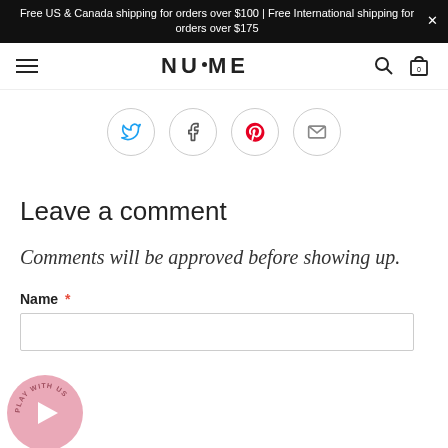Free US & Canada shipping for orders over $100 | Free International shipping for orders over $175
[Figure (logo): NuMe brand logo with dots between letters, hamburger menu icon, search icon, and cart icon in navigation bar]
[Figure (infographic): Row of four social share circle buttons: Twitter (blue bird), Facebook (f), Pinterest (red p), Email (envelope)]
Leave a comment
Comments will be approved before showing up.
Name *
[Figure (illustration): Pink circular play button badge with 'PLAY WITH US' text around it, bottom-left overlay]